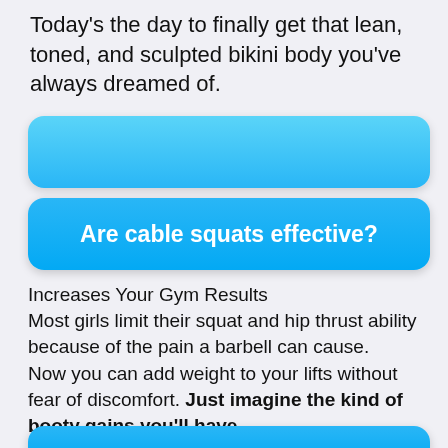Today's the day to finally get that lean, toned, and sculpted bikini body you've always dreamed of.
[Figure (other): Blue gradient decorative button/banner (top), no text]
[Figure (other): Blue gradient button with text: Are cable squats effective?]
Increases Your Gym Results
Most girls limit their squat and hip thrust ability because of the pain a barbell can cause.
Now you can add weight to your lifts without fear of discomfort. Just imagine the kind of booty gains you'll have.
[Figure (other): Blue gradient decorative button/banner (bottom, partially visible)]